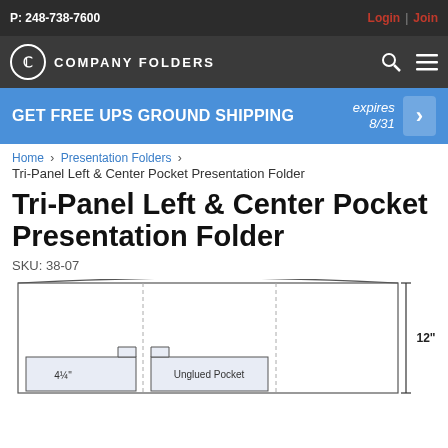P: 248-738-7600
Login | Join
COMPANY FOLDERS
GET FREE UPS GROUND SHIPPING   expires 8/31
Home > Presentation Folders > Tri-Panel Left & Center Pocket Presentation Folder
Tri-Panel Left & Center Pocket Presentation Folder
SKU: 38-07
[Figure (engineering-diagram): Line drawing of a tri-panel left and center pocket presentation folder showing dimensions. The folder is shown open/flat, with three panels. The left and center panels each show a pocket at the bottom. The left pocket is labeled '4¼"' and the center pocket is labeled 'Unglued Pocket'. The overall height dimension is marked as 12" on the right side.]